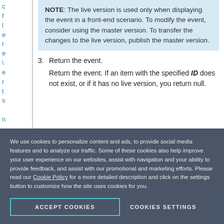c f l e r e \ e r t s n .
NOTE: The live version is used only when displaying the event in a front-end scenario. To modify the event, consider using the master version. To transfer the changes to the live version, publish the master version.
3. Return the event.
Return the event. If an item with the specified ID does not exist, or if it has no live version, you return null.
We use cookies to personalize content and ads, to provide social media features and to analyze our traffic. Some of these cookies also help improve your user experience on our websites, assist with navigation and your ability to provide feedback, and assist with our promotional and marketing efforts. Please read our Cookie Policy for a more detailed description and click on the settings button to customize how the site uses cookies for you.
ACCEPT COOKIES
COOKIES SETTINGS